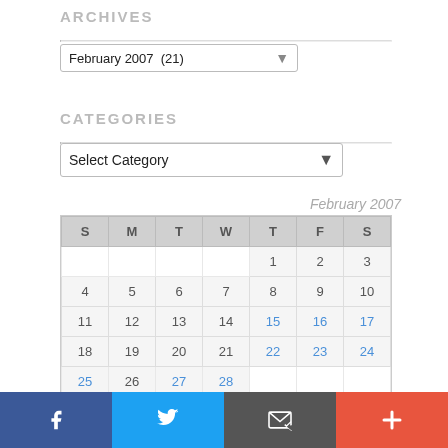ARCHIVES
February 2007  (21)
CATEGORIES
Select Category
February 2007
| S | M | T | W | T | F | S |
| --- | --- | --- | --- | --- | --- | --- |
|  |  |  |  | 1 | 2 | 3 |
| 4 | 5 | 6 | 7 | 8 | 9 | 10 |
| 11 | 12 | 13 | 14 | 15 | 16 | 17 |
| 18 | 19 | 20 | 21 | 22 | 23 | 24 |
| 25 | 26 | 27 | 28 |  |  |  |
[Figure (other): Social share bar with Facebook, Twitter, Email, and Plus buttons]